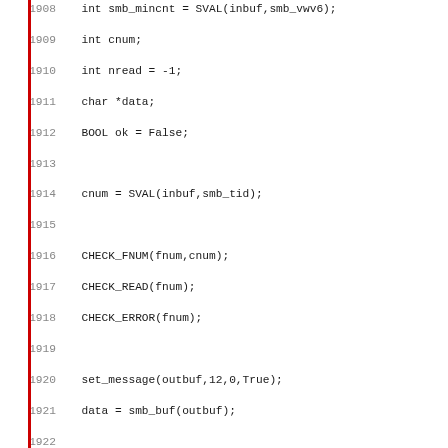[Figure (other): Source code listing showing C code lines 1908-1939 with line numbers and a red vertical bar on the left margin]